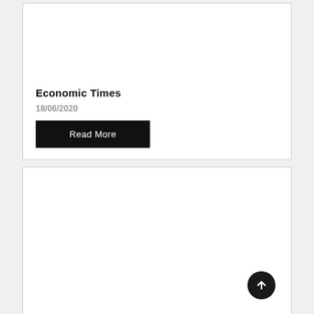Economic Times
18/06/2020
Read More